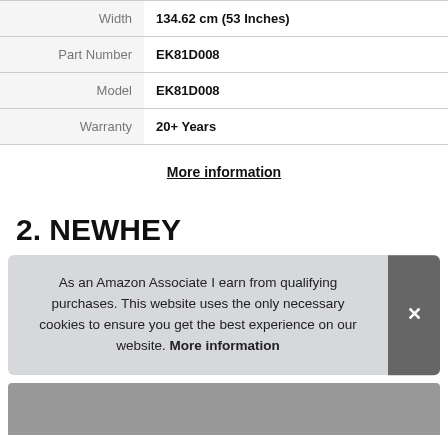| Attribute | Value |
| --- | --- |
| Width | 134.62 cm (53 Inches) |
| Part Number | EK81D008 |
| Model | EK81D008 |
| Warranty | 20+ Years |
More information
2. NEWHEY
As an Amazon Associate I earn from qualifying purchases. This website uses the only necessary cookies to ensure you get the best experience on our website. More information